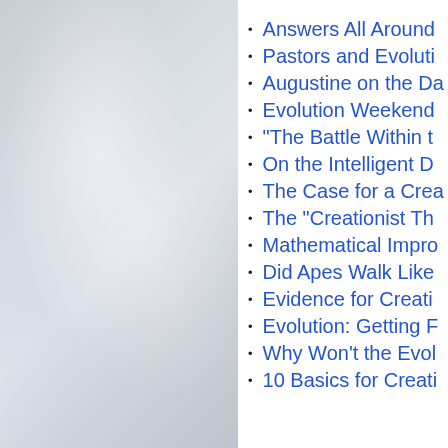[Figure (photo): Light blue-grey textured background, resembling a worn or aged surface, occupying the left half of the page.]
Answers All Around
Pastors and Evoluti
Augustine on the Da
Evolution Weekend
"The Battle Within t
On the Intelligent D
The Case for a Crea
The "Creationist Th
Mathematical Impro
Did Apes Walk Like
Evidence for Creati
Evolution: Getting F
Why Won't the Evol
10 Basics for Creati